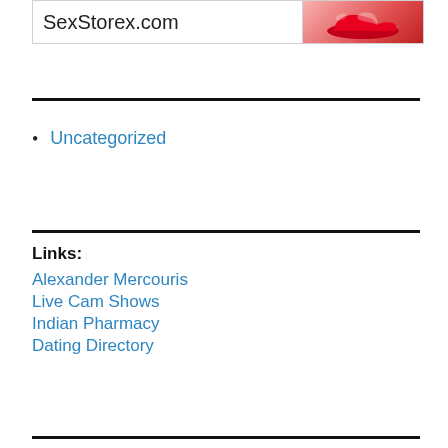[Figure (other): Banner advertisement for SexStorex.com with text logo on left and red shoes image on right]
Uncategorized
Links:
Alexander Mercouris
Live Cam Shows
Indian Pharmacy
Dating Directory